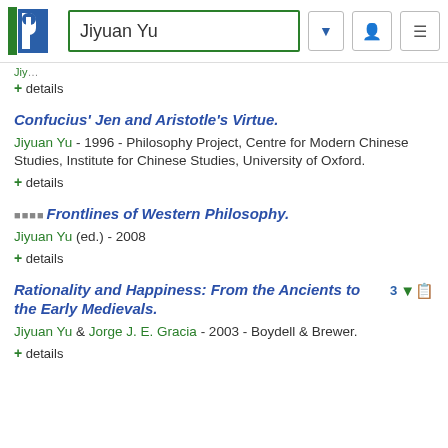Jiyuan Yu
+ details
Confucius' Jen and Aristotle's Virtue.
Jiyuan Yu - 1996 - Philosophy Project, Centre for Modern Chinese Studies, Institute for Chinese Studies, University of Oxford.
+ details
Frontlines of Western Philosophy.
Jiyuan Yu (ed.) - 2008
+ details
Rationality and Happiness: From the Ancients to the Early Medievals.
Jiyuan Yu & Jorge J. E. Gracia - 2003 - Boydell & Brewer.
+ details